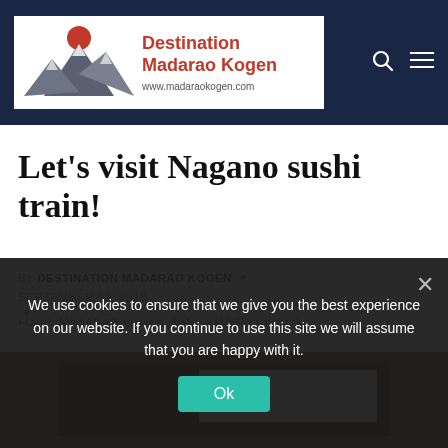[Figure (logo): Destination Madarao Kogen website header logo with mountain illustration and red sun, showing site title in red bold text and URL www.madaraokogen.com]
Let's visit Nagano sushi train!
BY DESTINATION MADARAO KOGEN · SEPTEMBER 12, 2018
FOOD, MADARAO KOGEN, TANGRAM SKI CIRCUS
[Figure (photo): Partial view of a sushi train restaurant interior]
We use cookies to ensure that we give you the best experience on our website. If you continue to use this site we will assume that you are happy with it.